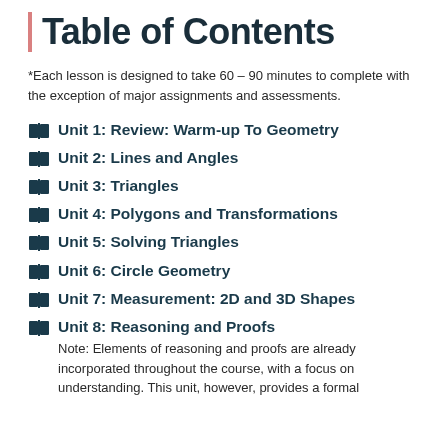Table of Contents
*Each lesson is designed to take 60 – 90 minutes to complete with the exception of major assignments and assessments.
Unit 1: Review: Warm-up To Geometry
Unit 2: Lines and Angles
Unit 3: Triangles
Unit 4: Polygons and Transformations
Unit 5: Solving Triangles
Unit 6: Circle Geometry
Unit 7: Measurement: 2D and 3D Shapes
Unit 8: Reasoning and Proofs
Note: Elements of reasoning and proofs are already incorporated throughout the course, with a focus on understanding. This unit, however, provides a formal